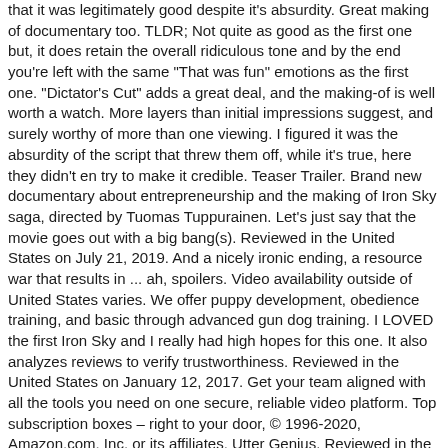that it was legitimately good despite it's absurdity. Great making of documentary too. TLDR; Not quite as good as the first one but, it does retain the overall ridiculous tone and by the end you're left with the same "That was fun" emotions as the first one. "Dictator's Cut" adds a great deal, and the making-of is well worth a watch. More layers than initial impressions suggest, and surely worthy of more than one viewing. I figured it was the absurdity of the script that threw them off, while it's true, here they didn't en try to make it credible. Teaser Trailer. Brand new documentary about entrepreneurship and the making of Iron Sky saga, directed by Tuomas Tuppurainen. Let's just say that the movie goes out with a big bang(s). Reviewed in the United States on July 21, 2019. And a nicely ironic ending, a resource war that results in ... ah, spoilers. Video availability outside of United States varies. We offer puppy development, obedience training, and basic through advanced gun dog training. I LOVED the first Iron Sky and I really had high hopes for this one. It also analyzes reviews to verify trustworthiness. Reviewed in the United States on January 12, 2017. Get your team aligned with all the tools you need on one secure, reliable video platform. Top subscription boxes – right to your door, © 1996-2020, Amazon.com, Inc. or its affiliates. Utter Genius. Reviewed in the United Kingdom on July 5, 2015. WARNED. Travelling or based outside United States? I waited years for this to come out and boy was I disappointed. Watch Iron Sky online in the UK: Netflix UK. If you loved Iron Sky, then you'll love this too! Excellent bluray edition for a very original and